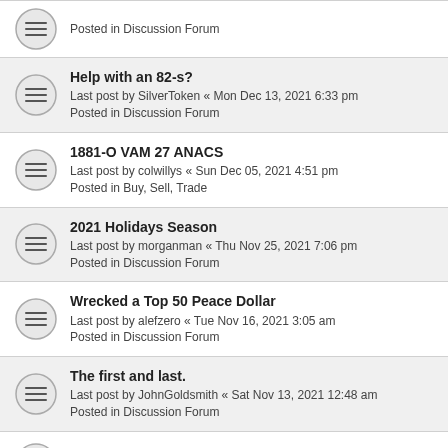Posted in Discussion Forum
Help with an 82-s?
Last post by SilverToken « Mon Dec 13, 2021 6:33 pm
Posted in Discussion Forum
1881-O VAM 27 ANACS
Last post by colwillys « Sun Dec 05, 2021 4:51 pm
Posted in Buy, Sell, Trade
2021 Holidays Season
Last post by morganman « Thu Nov 25, 2021 7:06 pm
Posted in Discussion Forum
Wrecked a Top 50 Peace Dollar
Last post by alefzero « Tue Nov 16, 2021 3:05 am
Posted in Discussion Forum
The first and last.
Last post by JohnGoldsmith « Sat Nov 13, 2021 12:48 am
Posted in Discussion Forum
OT. Informal proof reading of articles